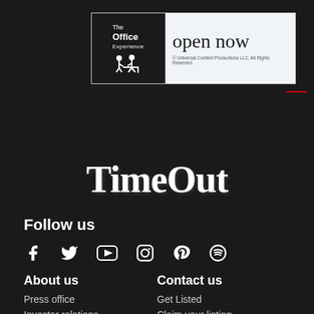[Figure (advertisement): The Office Experience advertisement banner with 'open now' text and Universal Content Productions LLC copyright notice]
[Figure (logo): Time Out logo in white serif font on dark background]
Follow us
[Figure (infographic): Social media icons: Facebook, Twitter, YouTube, Instagram, Pinterest, Spotify]
About us
Contact us
Press office
Get Listed
Investor relations
Claim your listing